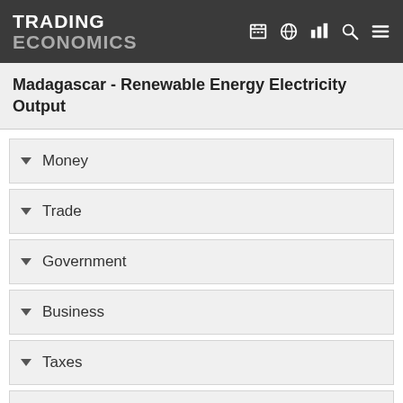TRADING ECONOMICS
Madagascar - Renewable Energy Electricity Output
Money
Trade
Government
Business
Taxes
Health
Climate